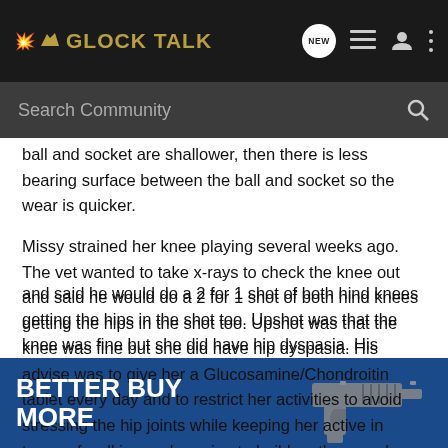GLOCK TALK
ball and socket are shallower, then there is less bearing surface between the ball and socket so the wear is quicker.
Missy strained her knee playing several weeks ago. The vet wanted to take x-rays to check the knee out and said he would do a 2 for 1 shot of both hind knees getting the hips in the shot too. Upshot was that the knee was fine but she did have hip dyspasia. His advise was to give her a Glucosamine/Chondroitin tablet every day and to restrict her activities to avoid stressing the hip joints while keeping her active in terms of walking and running to build up the muscles.
He said most HD damage is caused during the developing years be it is unable t ning the hip j heal
[Figure (screenshot): Advertisement banner: blue background with white bold text 'BETTER BUY MORE' and an image of a gun/pistol on the right side]